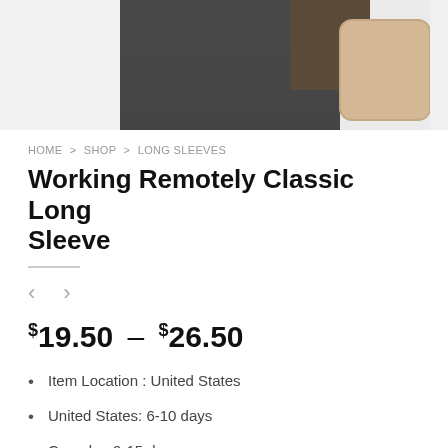[Figure (photo): Product photo showing the lower half of a person wearing dark gray jeans, with a light beige/tan square object visible on the right side. Background is light gray.]
HOME > SHOP > LONG SLEEVES
Working Remotely Classic Long Sleeve
< >
$19.50 – $26.50
Item Location : United States
United States: 6-10 days
Canada : 9-15 days
Europe / Worldwide : 15-20 days
Tracking Number Available (USPS)